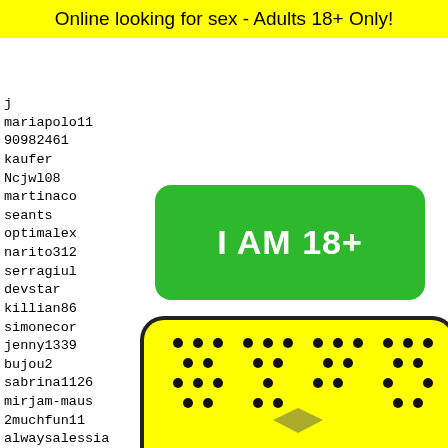Online looking for sex - Adults 18+ Only!
j
mariapolo11
90982461
kaufer
Ncjwl08
martinaco
seants
optimalex
narito312
serragiul
devstar
killian86
simonecor
jenny1339
bujou2
sabrina1126
mirjam-maus
2muchfun11
alwaysalessia
elenadeidda
alvaro
aussie
mrhill
Gorgeo
jess-9
ezgo57
[Figure (other): Green button with white text: I AM 18+]
[Figure (other): Red button with white text: EXIT]
388 389 390 391 392
[Figure (other): Yellow Snapchat ghost logo image at bottom]